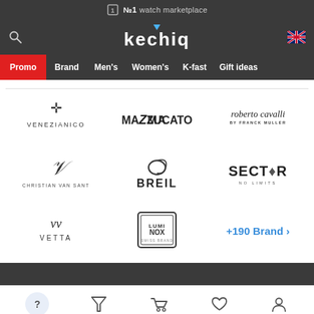№1 watch marketplace
[Figure (logo): Kechiq logo with UK flag icon and search icon in dark navigation bar]
Promo
Brand
Men's
Women's
K-fast
Gift ideas
[Figure (logo): VENEZIANICO brand logo with cross symbol]
[Figure (logo): MAZZUCATO brand logo]
[Figure (logo): roberto cavalli by FRANCK MULLER brand logo]
[Figure (logo): CHRISTIAN VAN SANT brand logo with V monogram]
[Figure (logo): BREIL brand logo]
[Figure (logo): SECTOR NO LIMITS brand logo]
[Figure (logo): VETTA brand logo]
[Figure (logo): LUMINOX brand logo]
+190 Brand ›
Bottom navigation bar with filter, cart, wishlist, and account icons